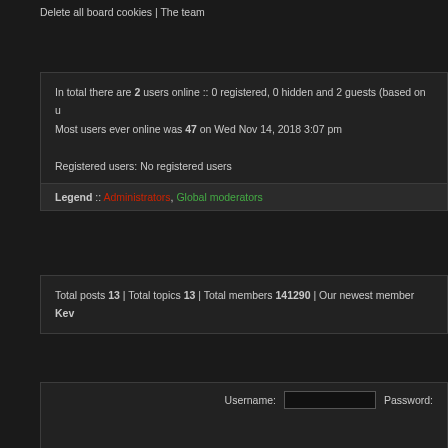Delete all board cookies | The team
In total there are 2 users online :: 0 registered, 0 hidden and 2 guests (based on u...
Most users ever online was 47 on Wed Nov 14, 2018 3:07 pm

Registered users: No registered users
Legend :: Administrators, Global moderators
Total posts 13 | Total topics 13 | Total members 141290 | Our newest member Kev...
Username:  Password:
Board index » Index page
It is currently Sat Aug 27, 2022 11:45 am | All times are UTC-5 hours